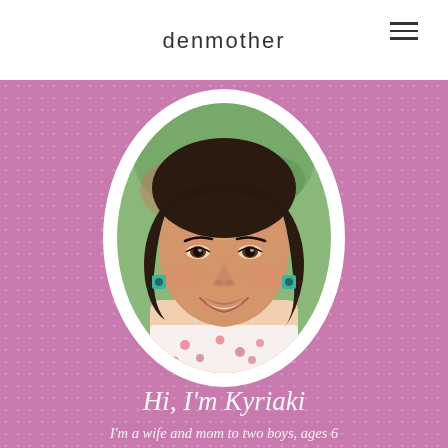denmother
[Figure (photo): Portrait photo of a smiling woman with dark wavy hair, wearing teal earrings and a floral top, set in an oval white-bordered frame on a pink patterned background]
Hi, I'm Kyriaki
I'm a wife and mom to two boys, ages 6